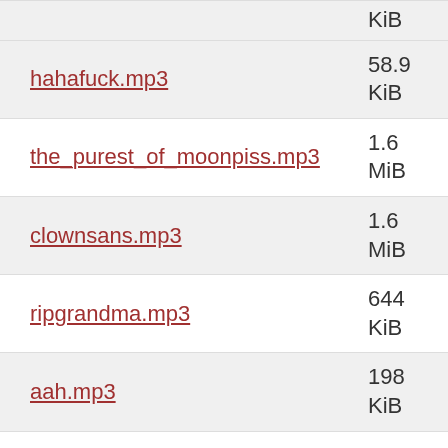hahafuck.mp3 — 58.9 KiB
the_purest_of_moonpiss.mp3 — 1.6 MiB
clownsans.mp3 — 1.6 MiB
ripgrandma.mp3 — 644 KiB
aah.mp3 — 198 KiB
wiimote2.mp3 — 2.5 MiB
jerrid.mp3 — 4.7 MiB